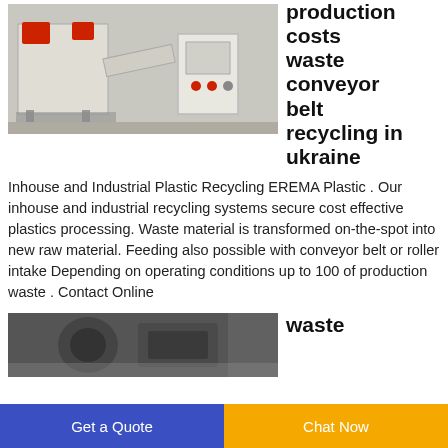[Figure (photo): Industrial plastic recycling machine in a facility, white and grey equipment with red containers]
production costs waste conveyor belt recycling in ukraine
Inhouse and Industrial Plastic Recycling EREMA Plastic . Our inhouse and industrial recycling systems secure cost effective plastics processing. Waste material is transformed on-the-spot into new raw material. Feeding also possible with conveyor belt or roller intake Depending on operating conditions up to 100 of production waste . Contact Online
[Figure (photo): Close-up of industrial machinery or conveyor belt recycling equipment]
waste
Get a Quote   Chat Now